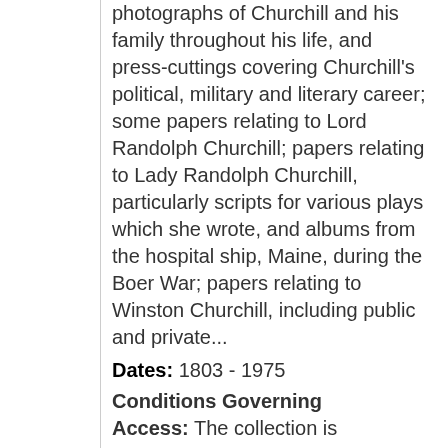photographs of Churchill and his family throughout his life, and press-cuttings covering Churchill's political, military and literary career; some papers relating to Lord Randolph Churchill; papers relating to Lady Randolph Churchill, particularly scripts for various plays which she wrote, and albums from the hospital ship, Maine, during the Boer War; papers relating to Winston Churchill, including public and private...
Dates: 1803 - 1975
Conditions Governing Access: The collection is